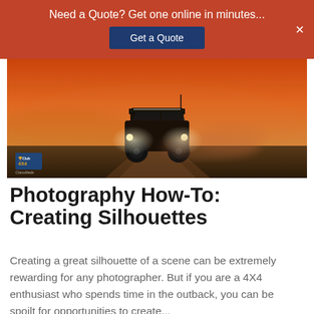Need a Quote? Get one online in minutes...
[Figure (photo): A 4X4 SUV with roof rack and headlights on driving across a flat outback landscape at sunset with dramatic orange sky and dust clouds]
Photography How-To: Creating Silhouettes
Creating a great silhouette of a scene can be extremely rewarding for any photographer. But if you are a 4X4 enthusiast who spends time in the outback, you can be spoilt for opportunities to create...